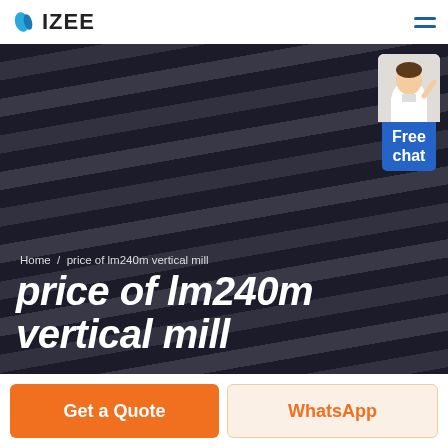IZEE
[Figure (photo): Dark hero background image showing striped fabric/clothing with a semi-transparent dark overlay. Includes breadcrumb 'Home / price of lm240m vertical mill' and bold title 'price of lm240m vertical mill'. A chat widget showing a person figure and 'Free chat' button appears in the top right.]
Home / price of lm240m vertical mill
price of lm240m vertical mill
Get a Quote
WhatsApp